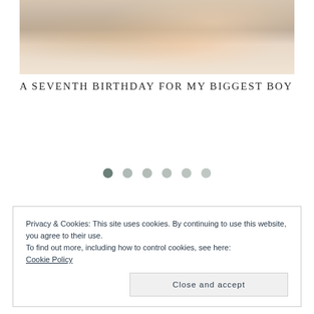[Figure (photo): Photo of children at a birthday party, cropped at top, showing partial bodies with birthday-themed clothing and decorations]
A SEVENTH BIRTHDAY FOR MY BIGGEST BOY
[Figure (other): Carousel/slider navigation dots — six dots with the first one darker (active) and the rest progressively lighter]
Privacy & Cookies: This site uses cookies. By continuing to use this website, you agree to their use.
To find out more, including how to control cookies, see here:
Cookie Policy
Close and accept